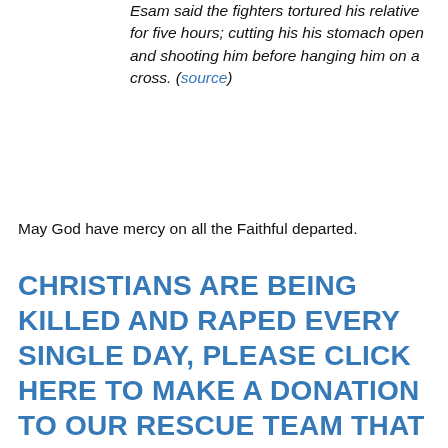Esam said the fighters tortured his relative for five hours; cutting his his stomach open and shooting him before hanging him on a cross. (source)
May God have mercy on all the Faithful departed.
CHRISTIANS ARE BEING KILLED AND RAPED EVERY SINGLE DAY, PLEASE CLICK HERE TO MAKE A DONATION TO OUR RESCUE TEAM THAT WILL SAVE THE LIVES OF CHRISTIANS FROM PERSECUTION